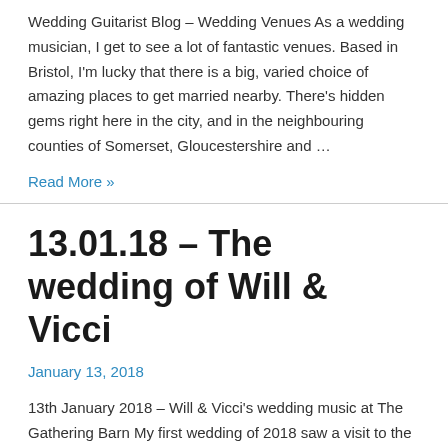Wedding Guitarist Blog – Wedding Venues As a wedding musician, I get to see a lot of fantastic venues. Based in Bristol, I'm lucky that there is a big, varied choice of amazing places to get married nearby. There's hidden gems right here in the city, and in the neighbouring counties of Somerset, Gloucestershire and …
Read More »
13.01.18 – The wedding of Will & Vicci
January 13, 2018
13th January 2018 – Will & Vicci's wedding music at The Gathering Barn My first wedding of 2018 saw a visit to the fantastic Gathering Barn near Warminster. A new venue for me this one, and it's an absolutely beautiful spot in the middle of the Wiltshire countryside. After driving down a farm track for a …